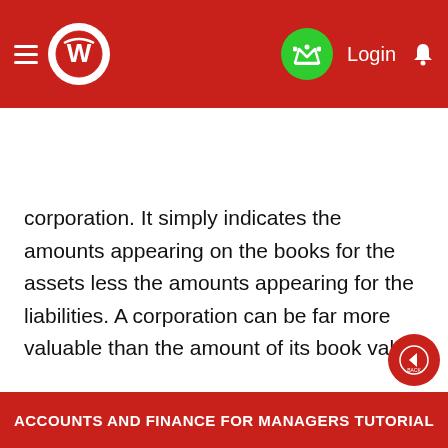[Figure (screenshot): Red mobile app header bar with hamburger menu, circular logo (white W icon), green crown button, Login text, and bell notification icon]
[Figure (screenshot): Search bar with placeholder text 'Search for Jobs...' and a search icon on the right]
corporation. It simply indicates the amounts appearing on the books for the assets less the amounts appearing for the liabilities. A corporation can be far more valuable than the amount of its book value.
ACCOUNTS AND FINANCE FOR MANAGERS TUTORIAL